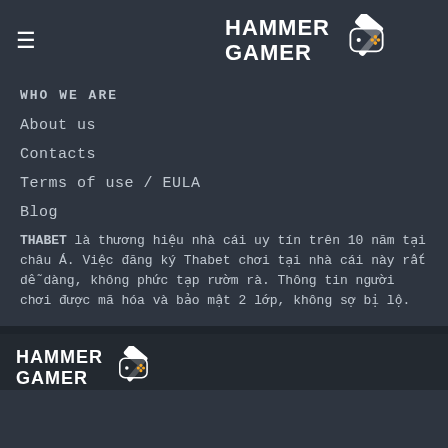HAMMER GAMER (logo with hamburger menu)
WHO WE ARE
About us
Contacts
Terms of use / EULA
Blog
THABET là thương hiệu nhà cái uy tín trên 10 năm tại châu Á. Việc đăng ký Thabet chơi tại nhà cái này rất dễ dàng, không phức tạp rườm rà. Thông tin người chơi được mã hóa và bảo mật 2 lớp, không sợ bị lộ.
HAMMER GAMER (logo)